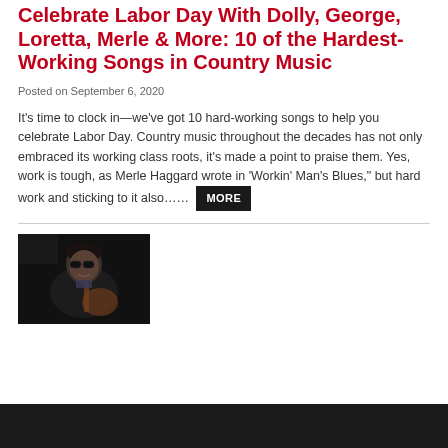Celebrate Labor Day With Dolly, George, Loretta, Merle & More: 10 of the Hardest-Working Songs in Country Music
Posted on September 6, 2020
It’s time to clock in—we’ve got 10 hard-working songs to help you celebrate Labor Day. Country music throughout the decades has not only embraced its working class roots, it’s made a point to praise them. Yes, work is tough, as Merle Haggard wrote in ‘Workin’ Man’s Blues,” but hard work and sticking to it also…… MORE
[Figure (photo): Black and white photo of an older man with sunglasses playing guitar on a dark stage]